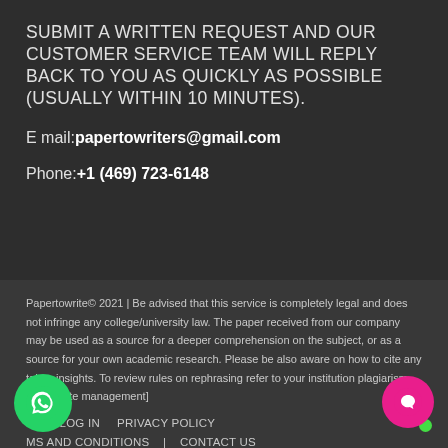SUBMIT A WRITTEN REQUEST AND OUR CUSTOMER SERVICE TEAM WILL REPLY BACK TO YOU AS QUICKLY AS POSSIBLE (USUALLY WITHIN 10 MINUTES).
E mail: papertowriters@gmail.com
Phone: +1 (469) 723-6148
Papertowrite© 2021 | Be advised that this service is completely legal and does not infringe any college/university law. The paper received from our company may be used as a source for a deeper comprehension on the subject, or as a source for your own academic research. Please be also aware on how to cite any taken insights. To review rules on rephrasing refer to your institution plagiarism policy. Site management] ER   LOG IN   PRIVACY POLICY   MS AND CONDITIONS   CONTACT US